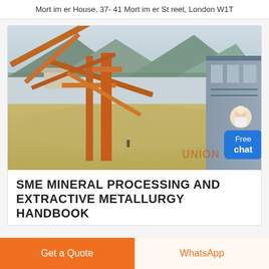Mortimer House, 37-41 Mortimer Street, London W1T
[Figure (photo): Outdoor mining/mineral processing facility with rust-orange conveyor belt structures, a large industrial building on the right, mountains in the background, and a 'Free chat' widget overlay in the top-right corner.]
SME MINERAL PROCESSING AND EXTRACTIVE METALLURGY HANDBOOK